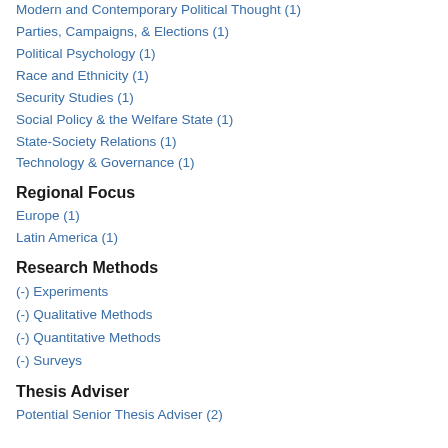Modern and Contemporary Political Thought (1)
Parties, Campaigns, & Elections (1)
Political Psychology (1)
Race and Ethnicity (1)
Security Studies (1)
Social Policy & the Welfare State (1)
State-Society Relations (1)
Technology & Governance (1)
Regional Focus
Europe (1)
Latin America (1)
Research Methods
(-) Experiments
(-) Qualitative Methods
(-) Quantitative Methods
(-) Surveys
Thesis Adviser
Potential Senior Thesis Adviser (2)